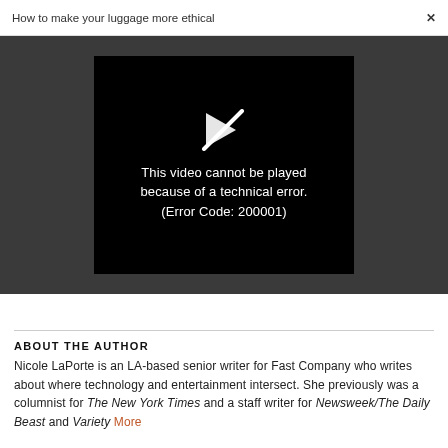How to make your luggage more ethical ×
[Figure (screenshot): Video player showing error message: This video cannot be played because of a technical error. (Error Code: 200001) with a broken play button icon on dark background]
ABOUT THE AUTHOR
Nicole LaPorte is an LA-based senior writer for Fast Company who writes about where technology and entertainment intersect. She previously was a columnist for The New York Times and a staff writer for Newsweek/The Daily Beast and Variety More